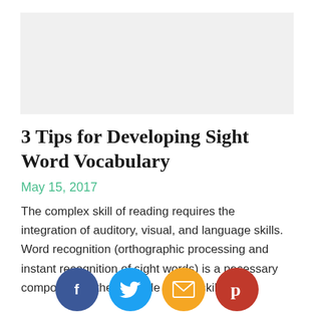[Figure (other): Gray rectangular advertisement placeholder area]
3 Tips for Developing Sight Word Vocabulary
May 15, 2017
The complex skill of reading requires the integration of auditory, visual, and language skills. Word recognition (orthographic processing and instant recognition of sight words) is a necessary component in the cascade of sub-skills…
[Figure (infographic): Social sharing buttons: Facebook (dark blue circle with f), Twitter (light blue circle with bird), Email (orange circle with envelope), Pinterest (red circle with p)]